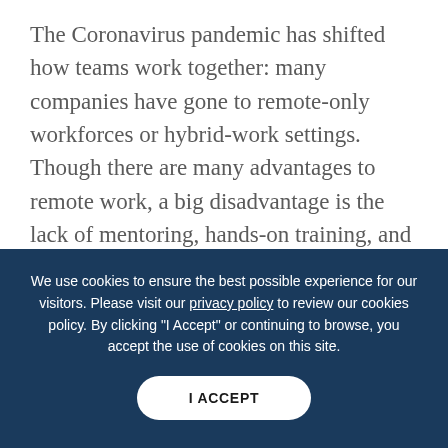The Coronavirus pandemic has shifted how teams work together: many companies have gone to remote-only workforces or hybrid-work settings. Though there are many advantages to remote work, a big disadvantage is the lack of mentoring, hands-on training, and ongoing skill development. Our training is done in-person and designed in a way to ensure our participants gain new skill sets through “learn by doing.” We put our students in realistic research settings with actual research
We use cookies to ensure the best possible experience for our visitors. Please visit our privacy policy to review our cookies policy. By clicking "I Accept" or continuing to browse, you accept the use of cookies on this site.
I ACCEPT